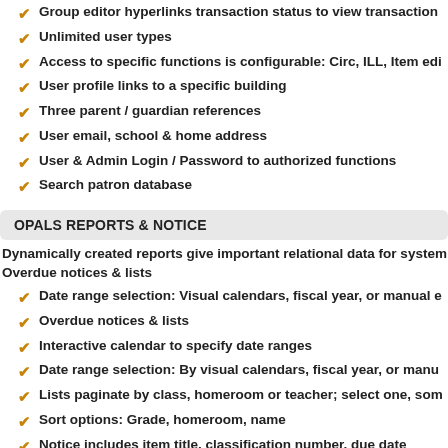Group editor hyperlinks transaction status to view transaction
Unlimited user types
Access to specific functions is configurable: Circ, ILL, Item edi
User profile links to a specific building
Three parent / guardian references
User email, school & home address
User & Admin Login / Password to authorized functions
Search patron database
OPALS REPORTS & NOTICE
Dynamically created reports give important relational data for system
Overdue notices & lists
Date range selection: Visual calendars, fiscal year, or manual e
Overdue notices & lists
Interactive calendar to specify date ranges
Date range selection: By visual calendars, fiscal year, or manu
Lists paginate by class, homeroom or teacher; select one, som
Sort options: Grade, homeroom, name
Notice includes item title, classification number, due date
Prints 1, 2 or 3 notices per page (uses PDF format to ensure pr